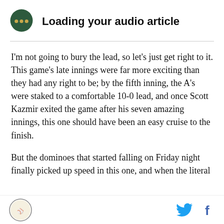[Figure (logo): Dark green circular audio player icon with three yellow dots]
Loading your audio article
I'm not going to bury the lead, so let's just get right to it. This game's late innings were far more exciting than they had any right to be; by the fifth inning, the A's were staked to a comfortable 10-0 lead, and once Scott Kazmir exited the game after his seven amazing innings, this one should have been an easy cruise to the finish.
But the dominoes that started falling on Friday night finally picked up speed in this one, and when the literal